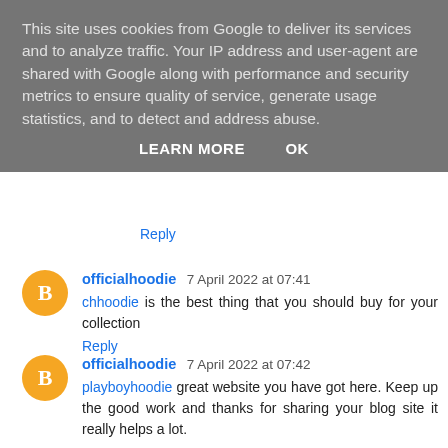This site uses cookies from Google to deliver its services and to analyze traffic. Your IP address and user-agent are shared with Google along with performance and security metrics to ensure quality of service, generate usage statistics, and to detect and address abuse.
LEARN MORE   OK
Reply
officialhoodie 7 April 2022 at 07:41
chhoodie is the best thing that you should buy for your collection
Reply
officialhoodie 7 April 2022 at 07:42
playboyhoodie great website you have got here. Keep up the good work and thanks for sharing your blog site it really helps a lot.